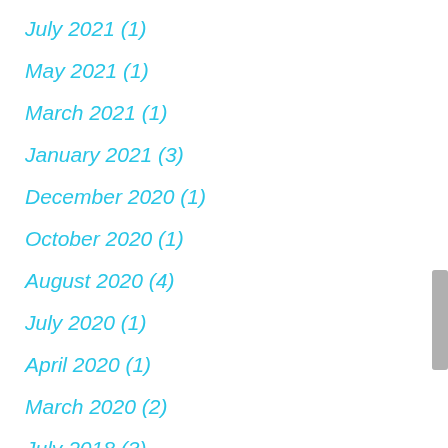July 2021 (1)
May 2021 (1)
March 2021 (1)
January 2021 (3)
December 2020 (1)
October 2020 (1)
August 2020 (4)
July 2020 (1)
April 2020 (1)
March 2020 (2)
July 2018 (3)
June 2018 (1)
May 2018 (2)
April 2018 (2)